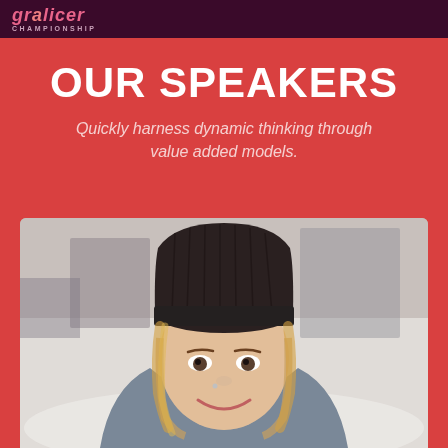Gralicer Championship
OUR SPEAKERS
Quickly harness dynamic thinking through value added models.
[Figure (photo): Portrait photo of a smiling young woman wearing a dark knit beanie hat and light jacket, photographed outdoors in winter with a blurred background.]